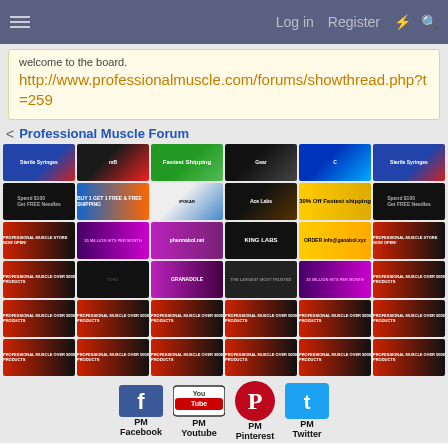Log in  Register
welcome to the board. http://www.professionalmuscle.com/forums/showthread.php?t=259
Professional Muscle Forum
[Figure (screenshot): Grid of advertisement banners for various bodybuilding/supplement products including Sterile Syringe, MuscleB, Fastest Shipping, King Labs, Ganabol, Pharmabol, Granadole, and multiple Professional Muscle store banners]
[Figure (infographic): Social media icons row: PM Facebook, PM Youtube, PM Pinterest, PM Twitter]
help for my girl(she wants too know if one binge